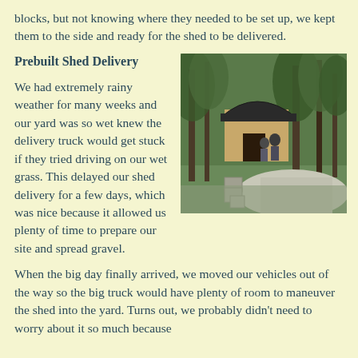blocks, but not knowing where they needed to be set up, we kept them to the side and ready for the shed to be delivered.
Prebuilt Shed Delivery
We had extremely rainy weather for many weeks and our yard was so wet knew the delivery truck would get stuck if they tried driving on our wet grass. This delayed our shed delivery for a few days, which was nice because it allowed us plenty of time to prepare our site and spread gravel.
[Figure (photo): A prebuilt wooden shed with a curved/arched roof being delivered or placed in a wooded backyard near a gravel driveway, with concrete blocks visible in the foreground.]
When the big day finally arrived, we moved our vehicles out of the way so the big truck would have plenty of room to maneuver the shed into the yard. Turns out, we probably didn't need to worry about it so much because